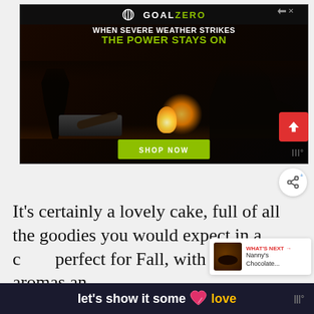[Figure (photo): GoalZero advertisement banner with dark background showing a person setting up a power station with glowing lantern, woman with baby on couch in background. Text: WHEN SEVERE WEATHER STRIKES / THE POWER STAYS ON / SHOP NOW]
It's certainly a lovely cake, full of all the goodies you would expect in a c... perfect for Fall, with wonderful aromas an...
[Figure (other): What's Next card showing Nanny's Chocolate...]
[Figure (other): let's show it some love bottom bar]